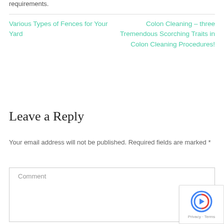requirements.
Various Types of Fences for Your Yard
Colon Cleaning – three Tremendous Scorching Traits in Colon Cleaning Procedures!
Leave a Reply
Your email address will not be published. Required fields are marked *
Comment